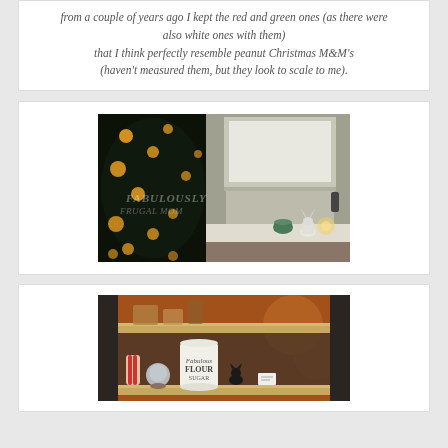from a couple of years ago I kept the red and green ones (as there were also white ones with them) that I think perfectly resemble peanut Christmas M&M's (haven't measured them, but they look to scale to me).
[Figure (photo): A dark Christmas tree with warm glowing lights on the left, and a window sill on the right with small white reindeer figurines and a small green vase/jar, brick wall visible in background.]
[Figure (photo): A wooden bookshelf with Christmas decorations including a white flour canister with text, small figurines, a snow globe, candy cane, and bokeh orange lights visible in the background.]